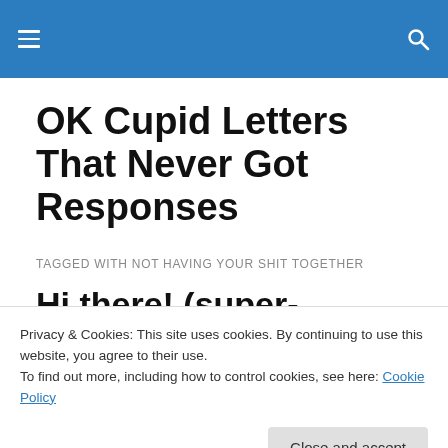≡  🔍
OK Cupid Letters That Never Got Responses
TAGGED WITH NOT HAVING YOUR SHIT TOGETHER
Hi there! (super-original subject line, drunk, Jake of the
Privacy & Cookies: This site uses cookies. By continuing to use this website, you agree to their use.
To find out more, including how to control cookies, see here: Cookie Policy
Close and accept
checked the box for casual sex, or if not that, then the fact